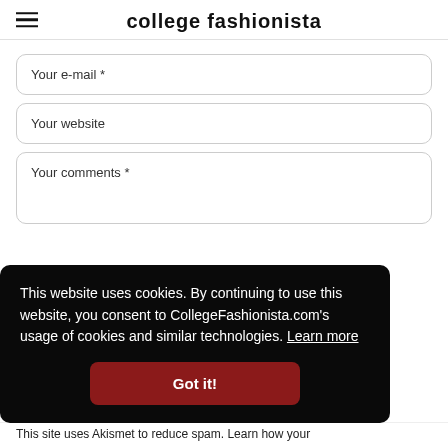college fashionista
Your e-mail *
Your website
Your comments *
This website uses cookies. By continuing to use this website, you consent to CollegeFashionista.com's usage of cookies and similar technologies. Learn more
Got it!
This site uses Akismet to reduce spam. Learn how your